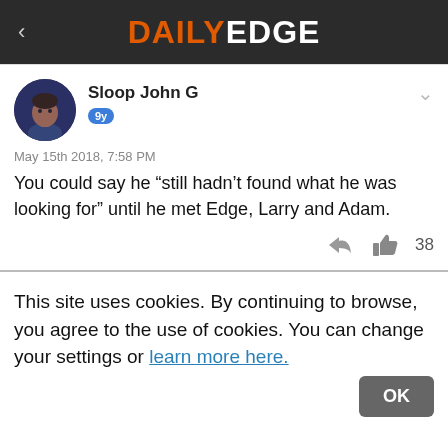DAILY EDGE
Sloop John G
9y
May 15th 2018, 7:58 PM
You could say he “still hadn’t found what he was looking for” until he met Edge, Larry and Adam.
38
This site uses cookies. By continuing to browse, you agree to the use of cookies. You can change your settings or learn more here.